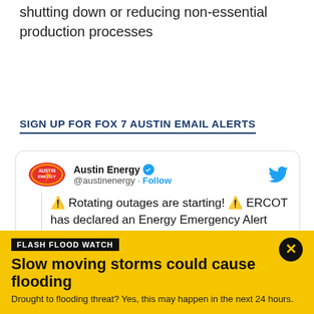shutting down or reducing non-essential production processes
SIGN UP FOR FOX 7 AUSTIN EMAIL ALERTS
[Figure (screenshot): Embedded tweet from @austinenergy (Austin Energy) with verified badge and Twitter bird icon. Tweet text: ⚠️ Rotating outages are starting! ⚠️ ERCOT has declared an Energy Emergency Alert (EEA) Level 3. Austin Energy, along with utilities]
FLASH FLOOD WATCH
Slow moving storms could cause flooding
Drought to flooding threat? Yes, this may happen in the next 24 hours.